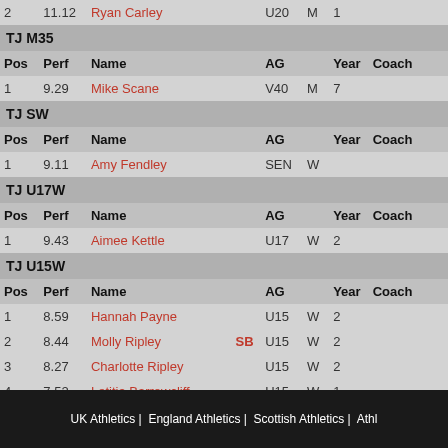| Pos | Perf | Name |  | AG |  | Year | Coach |
| --- | --- | --- | --- | --- | --- | --- | --- |
| 2 | 11.12 | Ryan Carley |  | U20 | M | 1 |  |
TJ M35
| Pos | Perf | Name |  | AG |  | Year | Coach |
| --- | --- | --- | --- | --- | --- | --- | --- |
| 1 | 9.29 | Mike Scane |  | V40 | M | 7 |  |
TJ SW
| Pos | Perf | Name |  | AG |  | Year | Coach |
| --- | --- | --- | --- | --- | --- | --- | --- |
| 1 | 9.11 | Amy Fendley |  | SEN | W |  |  |
TJ U17W
| Pos | Perf | Name |  | AG |  | Year | Coach |
| --- | --- | --- | --- | --- | --- | --- | --- |
| 1 | 9.43 | Aimee Kettle |  | U17 | W | 2 |  |
TJ U15W
| Pos | Perf | Name |  | AG |  | Year | Coach |
| --- | --- | --- | --- | --- | --- | --- | --- |
| 1 | 8.59 | Hannah Payne |  | U15 | W | 2 |  |
| 2 | 8.44 | Molly Ripley | SB | U15 | W | 2 |  |
| 3 | 8.27 | Charlotte Ripley |  | U15 | W | 2 |  |
| 4 | 7.52 | Letitia Barrowcliff |  | U15 | W | 1 |  |
| 5 | 7.04 | Megan Ellison |  | U15 | W | 1 | Tim Wigle... |
| 6 | 6.73 | Clea Butcher | PB | U15 | W | 1 | Gary War... |
UK Athletics |  England Athletics |  Scottish Athletics |  Athl...